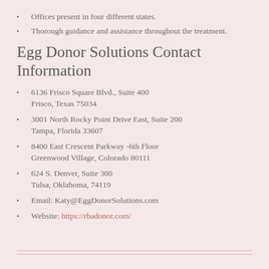Offices present in four different states.
Thorough guidance and assistance throughout the treatment.
Egg Donor Solutions Contact Information
6136 Frisco Square Blvd., Suite 400
Frisco, Texas 75034
3001 North Rocky Point Drive East, Suite 200
Tampa, Florida 33607
8400 East Crescent Parkway -6th Floor
Greenwood Village, Colorado 80111
624 S. Denver, Suite 300
Tulsa, Oklahoma, 74119
Email: Katy@EggDonorSolutions.com
Website: https://rbadonor.com/